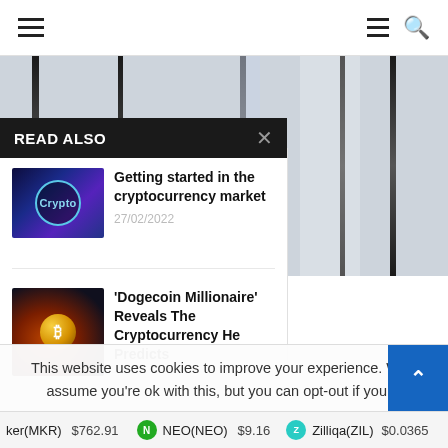Navigation bar with menu and search icons
[Figure (screenshot): Background image showing dark vertical columns/bars on a light background, partially obscured]
READ ALSO
[Figure (photo): Thumbnail image for cryptocurrency market article – blue/purple digital background with circular graphic]
Getting started in the cryptocurrency market
27/02/2022
[Figure (photo): Thumbnail image for Dogecoin Millionaire article – dark background with glowing bitcoin gold coin]
'Dogecoin Millionaire' Reveals The Cryptocurrency He Predicts
This website uses cookies to improve your experience. We'll assume you're ok with this, but you can opt-out if you w
ker(MKR) $762.91   NEO(NEO) $9.16   Zilliqa(ZIL) $0.0365